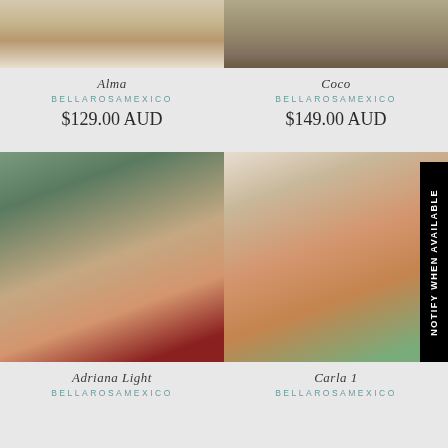[Figure (photo): Top portion of product image for Alma bag - woman wearing tan leather tooled crossbody bag with jeans]
[Figure (photo): Top portion of product image for Coco bag - woman holding brown leather tooled bag]
Alma
BELLAROSAMEXICO
$129.00 AUD
Coco
BELLAROSAMEXICO
$149.00 AUD
[Figure (photo): Full product image for Adriana Light bag - woman in gray shirt and red skirt carrying tan tooled leather crossbody bag with brown strap outdoors]
[Figure (photo): Full product image for Carla 1 bag - woman in white blouse and jeans holding tan/cognac saddle-style tooled leather bag with NOTIFY WHEN AVAILABLE badge]
Adriana Light
BELLAROSAMEXICO
Carla 1
BELLAROSAMEXICO